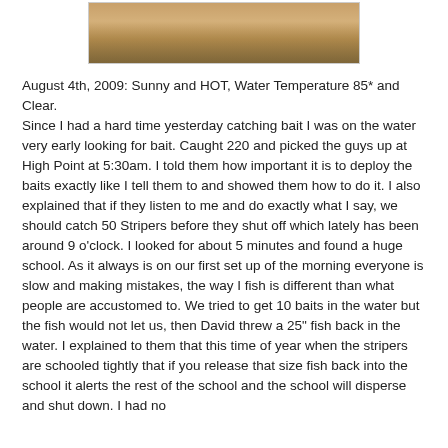[Figure (photo): Partial photo at top of page showing people outdoors, appears to be a fishing or outdoor scene with a yellow background element visible]
August 4th, 2009: Sunny and HOT, Water Temperature 85* and Clear.
Since I had a hard time yesterday catching bait I was on the water very early looking for bait. Caught 220 and picked the guys up at High Point at 5:30am. I told them how important it is to deploy the baits exactly like I tell them to and showed them how to do it. I also explained that if they listen to me and do exactly what I say, we should catch 50 Stripers before they shut off which lately has been around 9 o'clock. I looked for about 5 minutes and found a huge school. As it always is on our first set up of the morning everyone is slow and making mistakes, the way I fish is different than what people are accustomed to. We tried to get 10 baits in the water but the fish would not let us, then David threw a 25" fish back in the water. I explained to them that this time of year when the stripers are schooled tightly that if you release that size fish back into the school it alerts the rest of the school and the school will disperse and shut down. I had no